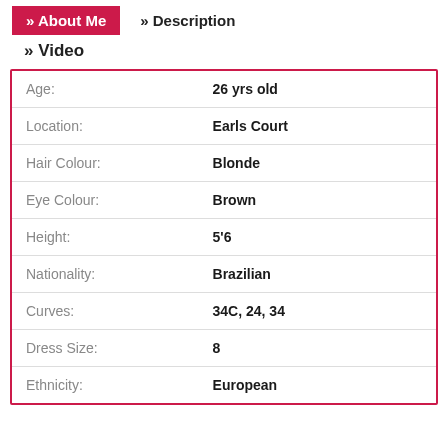» About Me  » Description
» Video
| Field | Value |
| --- | --- |
| Age: | 26 yrs old |
| Location: | Earls Court |
| Hair Colour: | Blonde |
| Eye Colour: | Brown |
| Height: | 5'6 |
| Nationality: | Brazilian |
| Curves: | 34C, 24, 34 |
| Dress Size: | 8 |
| Ethnicity: | European |